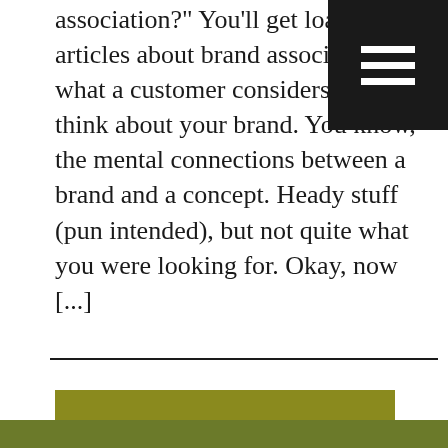[Figure (screenshot): Black hamburger menu icon (three horizontal white lines on black background) in the top-right corner of the page]
association?" You'll get loads of articles about brand association — what a customer considers when they think about your brand. You know, the mental connections between a brand and a concept. Heady stuff (pun intended), but not quite what you were looking for. Okay, now [...]
[Figure (other): Olive/yellow-green 'READ MORE' button]
[Figure (other): Olive/dark green bar at the very bottom of the page]